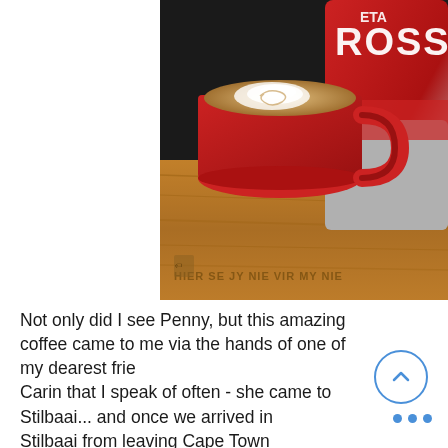[Figure (photo): A red coffee mug with latte art on a wooden table, next to a red Lavazza Rossa coffee bag. Engraved text on the wooden table reads 'HIER SE JY NIE VIR MY NIE'.]
Not only did I see Penny, but this amazing coffee came to me via the hands of one of my dearest friends, Carin that I speak of often - she came to Stilbaai... and once we arrived in Stilbaai from leaving Cape Town airport our voices were gone talking!!